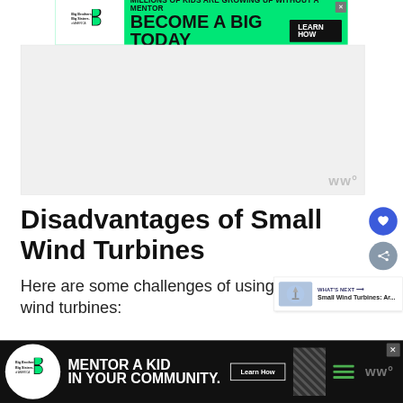[Figure (other): Big Brothers Big Sisters of America advertisement banner: green background with logo, text 'MILLIONS OF KIDS ARE GROWING UP WITHOUT A MENTOR / BECOME A BIG TODAY' and 'Learn How' button]
[Figure (other): Gray advertisement placeholder rectangle with 'ww°' logo watermark at bottom right]
Disadvantages of Small Wind Turbines
Here are some challenges of using small wind turbines:
[Figure (other): What's Next box showing small wind turbine image with text 'WHAT'S NEXT → Small Wind Turbines: Ar...']
[Figure (other): Bottom advertisement bar: black background, Big Brothers Big Sisters logo, 'MENTOR A KID IN YOUR COMMUNITY.' text, 'Learn How' button, diagonal stripes, hamburger menu, 'ww°' logo. Close button visible.]